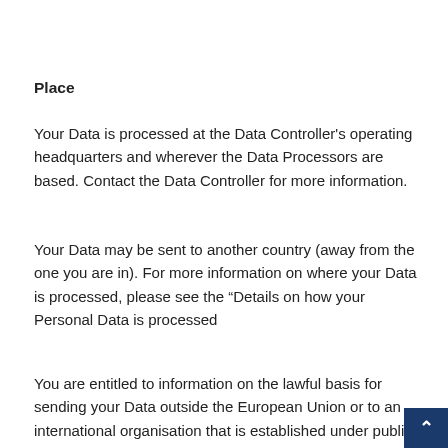Place
Your Data is processed at the Data Controller's operating headquarters and wherever the Data Processors are based. Contact the Data Controller for more information.
Your Data may be sent to another country (away from the one you are in). For more information on where your Data is processed, please see the “Details on how your Personal Data is processed
You are entitled to information on the lawful basis for sending your Data outside the European Union or to an international organisation that is established under public